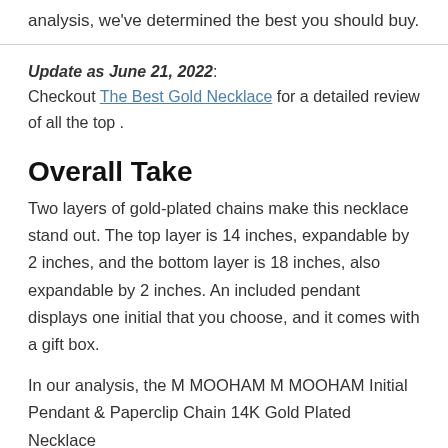analysis, we've determined the best you should buy.
Update as June 21, 2022: Checkout The Best Gold Necklace for a detailed review of all the top .
Overall Take
Two layers of gold-plated chains make this necklace stand out. The top layer is 14 inches, expandable by 2 inches, and the bottom layer is 18 inches, also expandable by 2 inches. An included pendant displays one initial that you choose, and it comes with a gift box.
In our analysis, the M MOOHAM M MOOHAM Initial Pendant & Paperclip Chain 14K Gold Plated Necklace